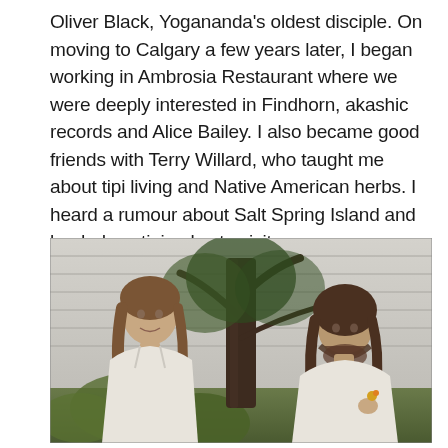Oliver Black, Yogananda's oldest disciple. On moving to Calgary a few years later, I began working in Ambrosia Restaurant where we were deeply interested in Findhorn, akashic records and Alice Bailey. I also became good friends with Terry Willard, who taught me about tipi living and Native American herbs. I heard a rumour about Salt Spring Island and loaded my tipi poles to visit.
[Figure (photo): Black and white photograph of two young men with long hair sitting outdoors in front of a wood-sided building. A tree trunk is visible between them. Flowers and foliage are in the foreground. The man on the left wears a white shirt and smiles; the man on the right has a beard and holds something small, also wearing a white shirt.]